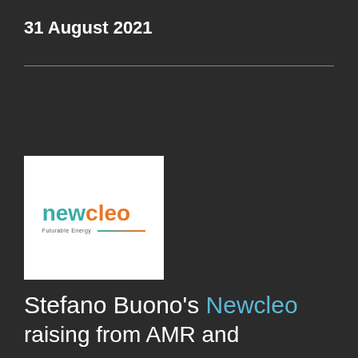31 August 2021
[Figure (logo): Newcleo logo on white background with tagline 'Futurable Energy' and gradient line]
Stefano Buono's Newcleo raising...